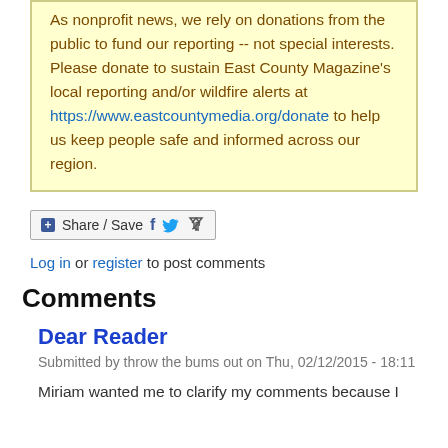As nonprofit news, we rely on donations from the public to fund our reporting -- not special interests. Please donate to sustain East County Magazine's local reporting and/or wildfire alerts at https://www.eastcountymedia.org/donate to help us keep people safe and informed across our region.
[Figure (other): Share / Save button with Facebook, Twitter, and share icons]
Log in or register to post comments
Comments
Dear Reader
Submitted by throw the bums out on Thu, 02/12/2015 - 18:11
Miriam wanted me to clarify my comments because I